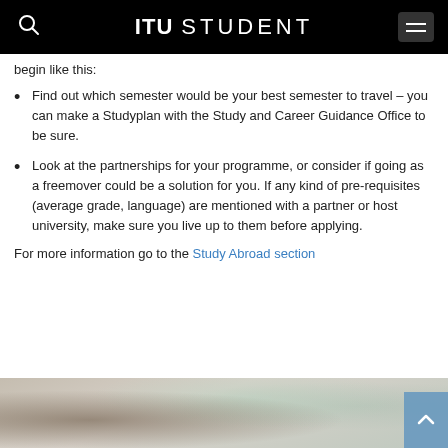ITU STUDENT
begin like this:
Find out which semester would be your best semester to travel – you can make a Studyplan with the Study and Career Guidance Office to be sure.
Look at the partnerships for your programme, or consider if going as a freemover could be a solution for you. If any kind of pre-requisites (average grade, language) are mentioned with a partner or host university, make sure you live up to them before applying.
For more information go to the Study Abroad section
[Figure (photo): Blurred indoor photo showing a person and decorative green circular elements in the background]